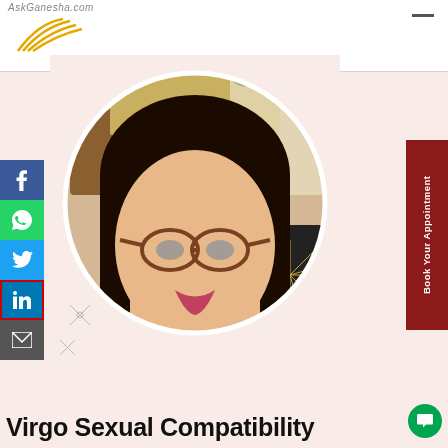AskGanesha.com
[Figure (photo): Circular portrait photo of a woman with glasses, dark hair, wearing a yellow top, with decorative background]
Book Your Appointment
Virgo Sexual Compatibility